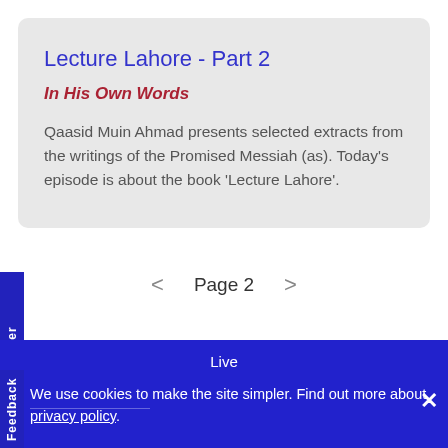Lecture Lahore - Part 2
In His Own Words
Qaasid Muin Ahmad presents selected extracts from the writings of the Promised Messiah (as). Today's episode is about the book 'Lecture Lahore'.
< Page 2 >
Newsletter
Live
Feedback
We use cookies to make the site simpler. Find out more about privacy policy.